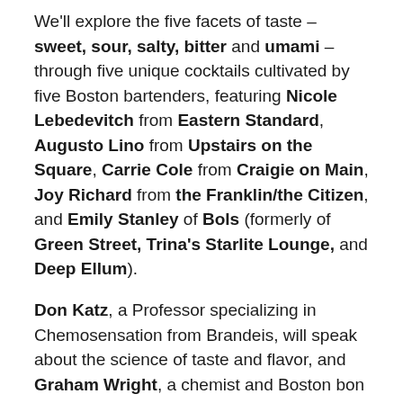We'll explore the five facets of taste – sweet, sour, salty, bitter and umami – through five unique cocktails cultivated by five Boston bartenders, featuring Nicole Lebedevitch from Eastern Standard, Augusto Lino from Upstairs on the Square, Carrie Cole from Craigie on Main, Joy Richard from the Franklin/the Citizen, and Emily Stanley of Bols (formerly of Green Street, Trina's Starlite Lounge, and Deep Ellum).
Don Katz, a Professor specializing in Chemosensation from Brandeis, will speak about the science of taste and flavor, and Graham Wright, a chemist and Boston bon vivant, will team up with the bartenders to explain how these concepts are applied in the glass.
The Science of Taste is a three-part consumer series designed to benefit Science Club for Girls, a MA-based